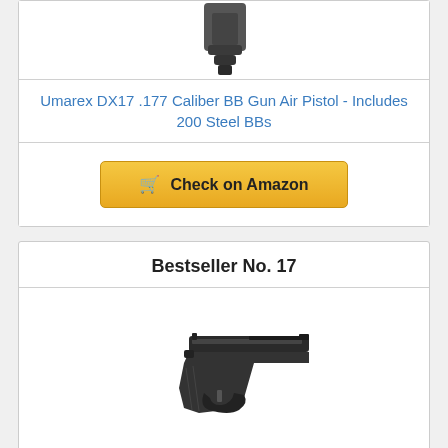[Figure (photo): Partial view of a black BB gun / air pistol magazine or grip, cropped at top]
Umarex DX17 .177 Caliber BB Gun Air Pistol - Includes 200 Steel BBs
Check on Amazon
Bestseller No. 17
[Figure (photo): Beeman Sportsman Series Deluxe Air Pistol - Model 2004, shown from the side, black color]
Beeman Sportsman Series Deluxe Air Pistol - Model 2004